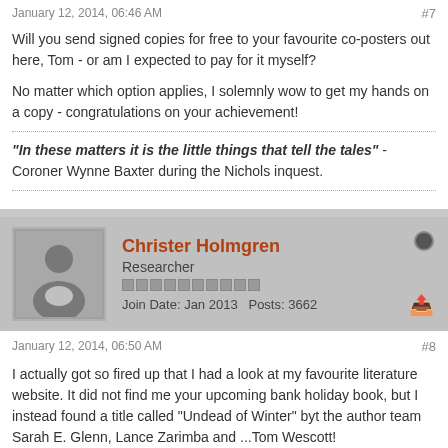January 12, 2014, 06:46 AM   #7
Will you send signed copies for free to your favourite co-posters out here, Tom - or am I expected to pay for it myself?
No matter which option applies, I solemnly wow to get my hands on a copy - congratulations on your achievement!
"In these matters it is the little things that tell the tales" - Coroner Wynne Baxter during the Nichols inquest.
Christer Holmgren
Researcher
Join Date: Jan 2013   Posts: 3662
January 12, 2014, 06:50 AM   #8
I actually got so fired up that I had a look at my favourite literature website. It did not find me your upcoming bank holiday book, but I instead found a title called "Undead of Winter" byt the author team Sarah E. Glenn, Lance Zarimba and ...Tom Wescott!
Please tell me there are not two of you.